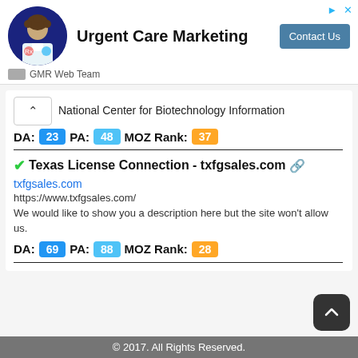[Figure (illustration): Advertisement banner for Urgent Care Marketing by GMR Web Team, showing a person in medical attire with a blue circular background, a bold title 'Urgent Care Marketing', a 'Contact Us' button, and GMR Web Team logo/name below.]
National Center for Biotechnology Information
DA: 23 PA: 48 MOZ Rank: 37
✔Texas License Connection - txfgsales.com 🔗
txfgsales.com
https://www.txfgsales.com/
We would like to show you a description here but the site won't allow us.
DA: 69 PA: 88 MOZ Rank: 28
© 2017. All Rights Reserved.